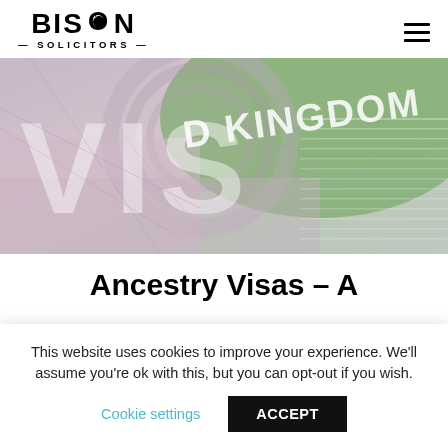[Figure (logo): Bison Solicitors logo with bison icon and text BISON SOLICITORS]
[Figure (photo): Close-up photograph of a United Kingdom VISA stamp in a passport, showing the words VISA and UNITED KINGDOM]
Ancestry Visas – A
This website uses cookies to improve your experience. We'll assume you're ok with this, but you can opt-out if you wish.
Cookie settings   ACCEPT